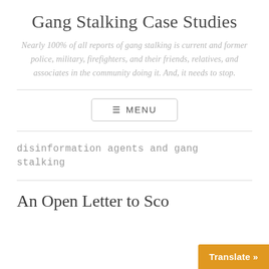Gang Stalking Case Studies
Nearly 100% of all reports of gang stalking is current and former police, military, firefighters, and their friends, relatives, and associates in the community doing it. And, it needs to stop.
≡ MENU
disinformation agents and gang stalking
An Open Letter to Sco
Translate »